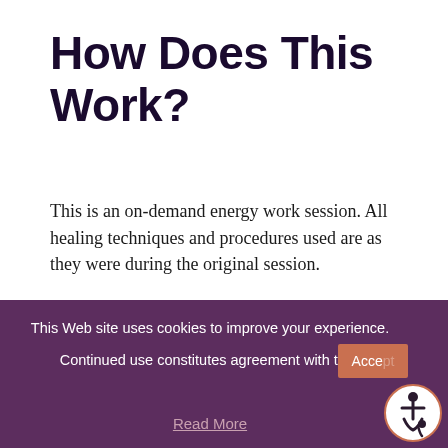How Does This Work?
This is an on-demand energy work session. All healing techniques and procedures used are as they were during the original session.
Once you complete your purchase, you'll be transferred to a page with session instructions and an incantation to read to call the session forward. You'll also receive
This Web site uses cookies to improve your experience. Continued use constitutes agreement with this.
Read More